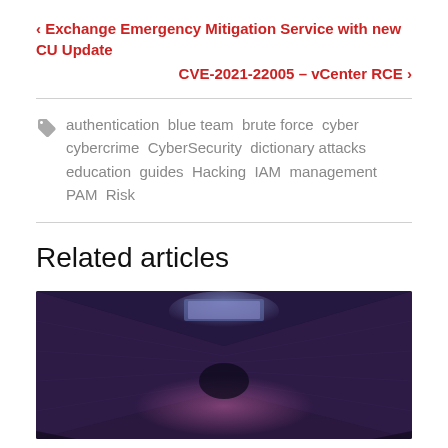‹ Exchange Emergency Mitigation Service with new CU Update
CVE-2021-22005 – vCenter RCE ›
authentication blue team brute force cyber cybercrime CyberSecurity dictionary attacks education guides Hacking IAM management PAM Risk
Related articles
[Figure (photo): Dark corridor or server room hallway with purple/blue ambient lighting and ceiling light panels, viewed from a low perspective.]